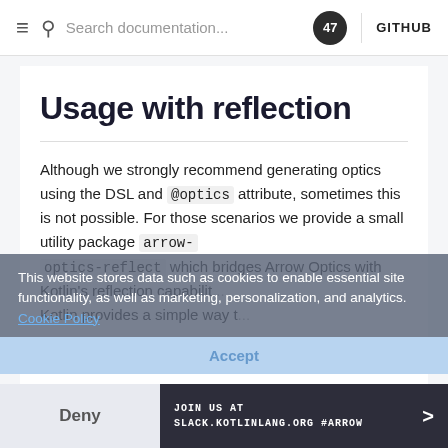≡ 🔍 Search documentation... 47 | GITHUB
Usage with reflection
Although we strongly recommend generating optics using the DSL and @optics attribute, sometimes this is not possible. For those scenarios we provide a small utility package arrow-optics-reflect which bridges Arrow Optics with Kotlin's reflection capabilities.
Kotlin provides a simple way t...
This website stores data such as cookies to enable essential site functionality, as well as marketing, personalization, and analytics. Cookie Policy
Accept
Deny
JOIN US AT
SLACK.KOTLINLANG.ORG #ARROW